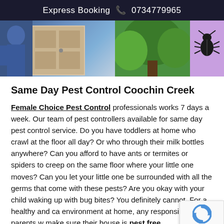Express Booking 📞 0734779965
[Figure (photo): Hero banner showing a pest control worker in blue uniform at a door (left), green bushes/trees (center), and a purple panel with a black beetle/bug icon (right).]
Same Day Pest Control Coochin Creek
Female Choice Pest Control professionals works 7 days a week. Our team of pest controllers available for same day pest control service. Do you have toddlers at home who crawl at the floor all day? Or who through their milk bottles anywhere? Can you afford to have ants or termites or spiders to creep on the same floor where your little one moves? Can you let your little one be surrounded with all the germs that come with these pests? Are you okay with your child waking up with bug bites? You definitely cannot. For a healthy and ca environment at home, any responsible parents w make sure their house is pest free.